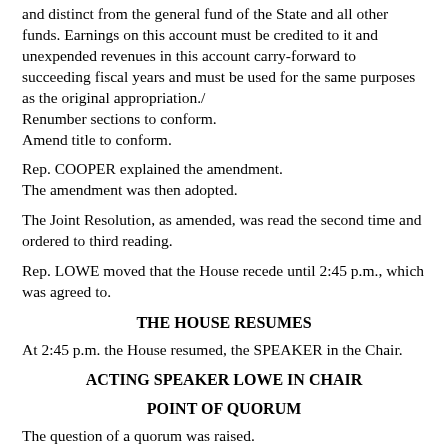and distinct from the general fund of the State and all other funds. Earnings on this account must be credited to it and unexpended revenues in this account carry-forward to succeeding fiscal years and must be used for the same purposes as the original appropriation./
Renumber sections to conform.
Amend title to conform.
Rep. COOPER explained the amendment.
The amendment was then adopted.
The Joint Resolution, as amended, was read the second time and ordered to third reading.
Rep. LOWE moved that the House recede until 2:45 p.m., which was agreed to.
THE HOUSE RESUMES
At 2:45 p.m. the House resumed, the SPEAKER in the Chair.
ACTING SPEAKER LOWE IN CHAIR
POINT OF QUORUM
The question of a quorum was raised.